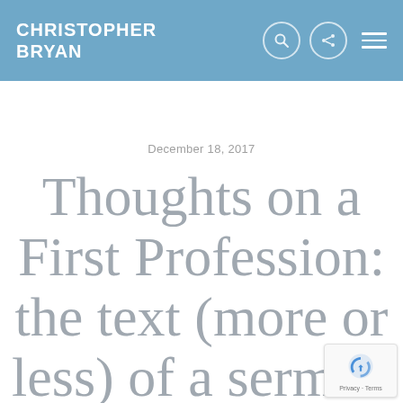CHRISTOPHER BRYAN
December 18, 2017
Thoughts on a First Profession: the text (more or less) of a sermon preached in